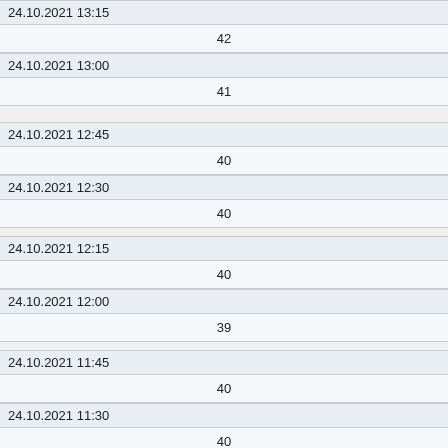| 24.10.2021 13:15 | 42 |
| 24.10.2021 13:00 | 41 |
| 24.10.2021 12:45 | 40 |
| 24.10.2021 12:30 | 40 |
| 24.10.2021 12:15 | 40 |
| 24.10.2021 12:00 | 39 |
| 24.10.2021 11:45 | 40 |
| 24.10.2021 11:30 | 40 |